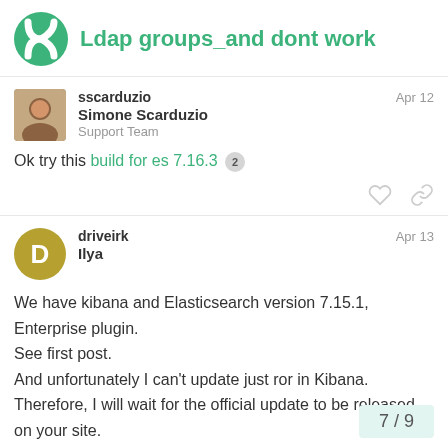Ldap groups_and dont work
sscarduzio
Simone Scarduzio
Support Team
Apr 12
Ok try this build for es 7.16.3 2
driveirk
Ilya
Apr 13
We have kibana and Elasticsearch version 7.15.1, Enterprise plugin.
See first post.
And unfortunately I can't update just ror in Kibana.
Therefore, I will wait for the official update to be released on your site.
7 / 9